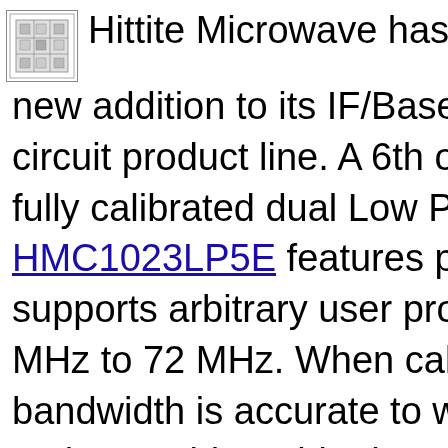[Figure (logo): Small square chip/IC die image, monochrome, used as a logo for Hittite Microwave]
Hittite Microwave has introduced new addition to its IF/Baseband circuit product line. A 6th order, programmable, fully calibrated dual Low Pass Filter (HMC1023LP5E) features programmable supports arbitrary user programmable, MHz to 72 MHz. When calibrated, the bandwidth is accurate to within ±2.5% option enables wider bandwidth while